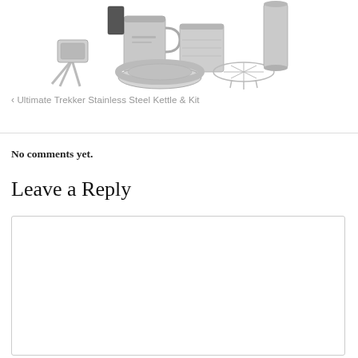[Figure (photo): Product photo of stainless steel kettle kit components including a stove stand, cups, pots, and a circular rack on a white background]
< Ultimate Trekker Stainless Steel Kettle & Kit
No comments yet.
Leave a Reply